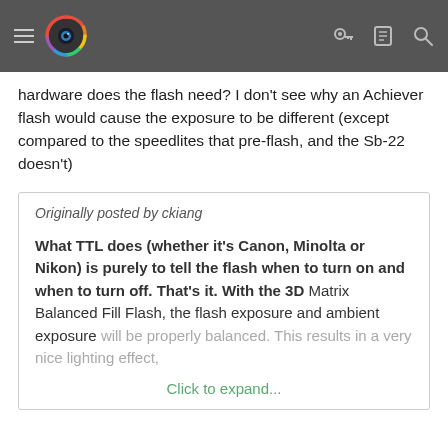Navigation bar with hamburger menu, logo, and icons
hardware does the flash need? I don't see why an Achiever flash would cause the exposure to be different (except compared to the speedlites that pre-flash, and the Sb-22 doesn't)
Originally posted by ckiang

What TTL does (whether it's Canon, Minolta or Nikon) is purely to tell the flash when to turn on and when to turn off. That's it. With the 3D Matrix Balanced Fill Flash, the flash exposure and ambient exposure will be properly balanced. This results in a very nice lighting effect,
Click to expand...
ckiang
Senior Member